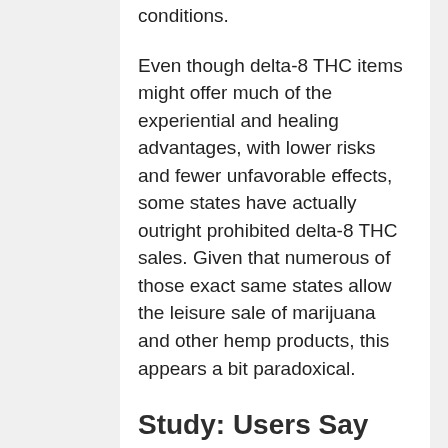conditions.
Even though delta-8 THC items might offer much of the experiential and healing advantages, with lower risks and fewer unfavorable effects, some states have actually outright prohibited delta-8 THC sales. Given that numerous of those exact same states allow the leisure sale of marijuana and other hemp products, this appears a bit paradoxical.
Study: Users Say Delta-8-thc Is Delta-9's 'Nicer Younger Sibling'
Marijuana laws stay a patchwork of policies and policies. With more and